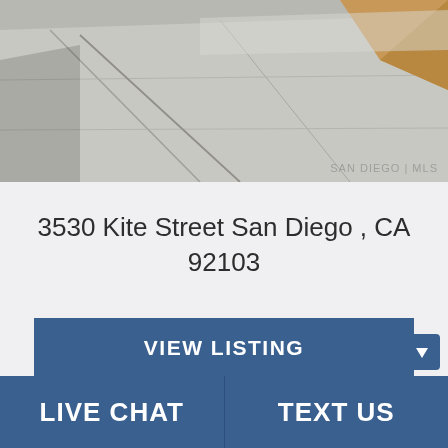[Figure (photo): Exterior photo showing a concrete driveway/sidewalk area with some gravel or mulch visible in the upper right corner. A San Diego MLS watermark is visible in the lower right of the image.]
3530 Kite Street San Diego , CA 92103
VIEW LISTING
LIVE CHAT
TEXT US